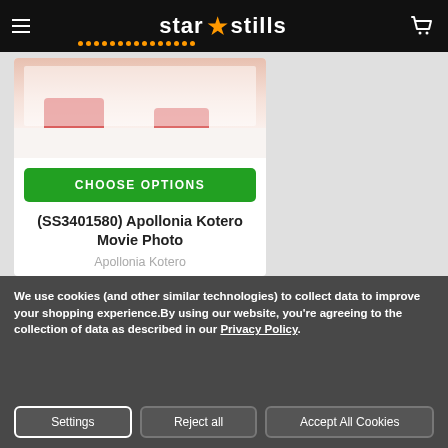star stills
[Figure (photo): Partial view of a movie photo showing legs in red shoes on white background]
CHOOSE OPTIONS
(SS3401580) Apollonia Kotero Movie Photo
Apollonia Kotero
$9.49 - $151.27
We use cookies (and other similar technologies) to collect data to improve your shopping experience.By using our website, you're agreeing to the collection of data as described in our Privacy Policy.
Settings
Reject all
Accept All Cookies